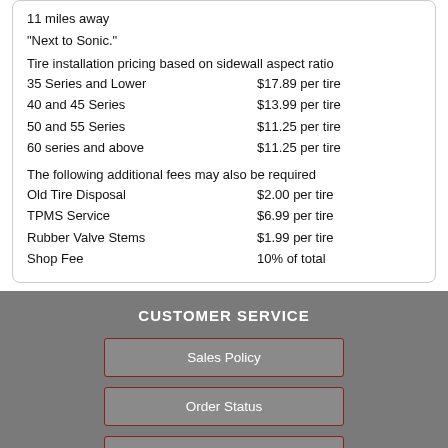11 miles away
"Next to Sonic."
Tire installation pricing based on sidewall aspect ratio
35 Series and Lower    $17.89 per tire
40 and 45 Series    $13.99 per tire
50 and 55 Series    $11.25 per tire
60 series and above    $11.25 per tire
The following additional fees may also be required
Old Tire Disposal    $2.00 per tire
TPMS Service    $6.99 per tire
Rubber Valve Stems    $1.99 per tire
Shop Fee    10% of total
CUSTOMER SERVICE
Sales Policy
Order Status
Return an Item